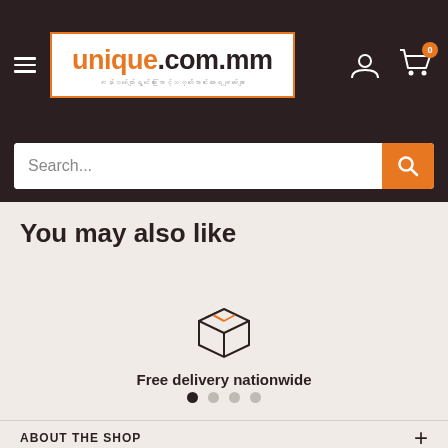[Figure (screenshot): Website header with hamburger menu, unique.com.mm logo, user account icon, and cart icon with badge showing 0]
[Figure (screenshot): Search bar with placeholder text 'Search...' and orange search button]
You may also like
[Figure (illustration): Package/box delivery icon with orange accent lines]
Free delivery nationwide
[Figure (other): Carousel dots: 4 dots, first active (dark), rest inactive (gray)]
ABOUT THE SHOP